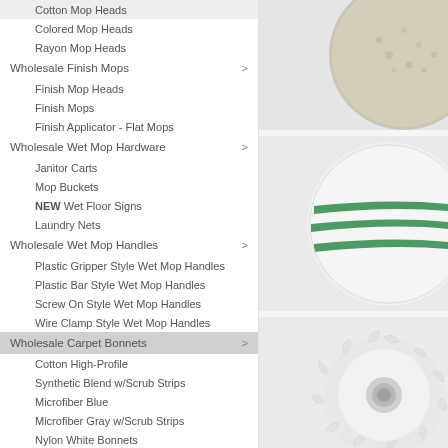Cotton Mop Heads
Colored Mop Heads
Rayon Mop Heads
Wholesale Finish Mops
Finish Mop Heads
Finish Mops
Finish Applicator - Flat Mops
Wholesale Wet Mop Hardware
Janitor Carts
Mop Buckets
NEW Wet Floor Signs
Laundry Nets
Wholesale Wet Mop Handles
Plastic Gripper Style Wet Mop Handles
Plastic Bar Style Wet Mop Handles
Screw On Style Wet Mop Handles
Wire Clamp Style Wet Mop Handles
Wholesale Carpet Bonnets
Cotton High-Profile
Synthetic Blend w/Scrub Strips
Microfiber Blue
Microfiber Gray w/Scrub Strips
Nylon White Bonnets
Rayon Low-Profile w/Scrub Strips
Rayon High-Profile
7" Carpet Bonnets
[Figure (photo): Round beige/cream mop head or carpet bonnet, top view]
[Figure (photo): Round white carpet bonnet with green horizontal stripes]
[Figure (photo): Round white mop head with fringe/loop edge, viewed from back]